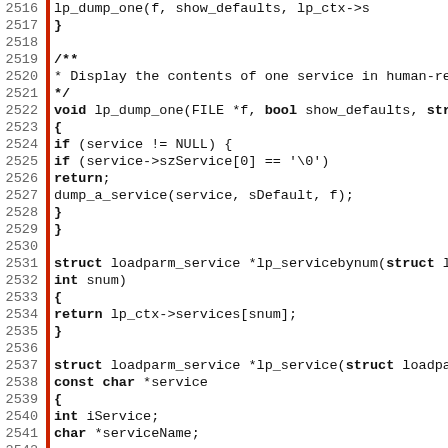Source code listing, lines 2516-2547, C code for lp_dump_one and lp_service functions